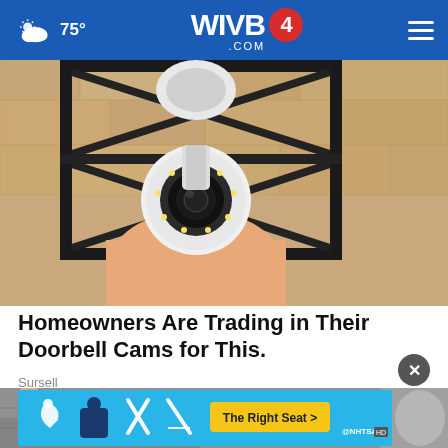75° WIVB4.COM
[Figure (photo): Close-up of a hand installing or adjusting a white dome security camera with LED ring lights in a black metal bracket mount on a sandy/stone textured exterior wall.]
Homeowners Are Trading in Their Doorbell Cams for This.
Sursell
[Figure (photo): Partial view of people walking on a sidewalk/pavement, with a NHTSA safety advertisement overlay showing car seat icons and 'The Right Seat >' button.]